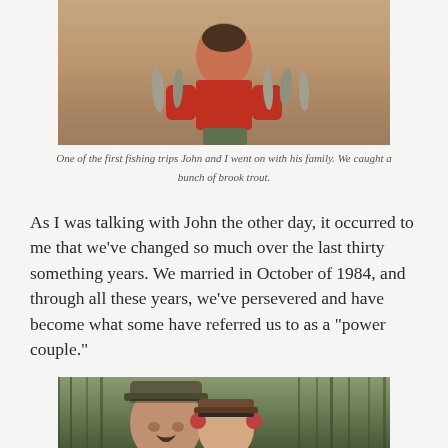[Figure (photo): Old photograph of a person in a red shirt holding brook trout caught on a fishing trip with John's family.]
One of the first fishing trips John and I went on with his family. We caught a bunch of brook trout.
As I was talking with John the other day, it occurred to me that we’ve changed so much over the last thirty something years. We married in October of 1984, and through all these years, we’ve persevered and have become what some have referred us to as a “power couple.”
[Figure (photo): Photo of a couple outdoors in wooded area, both wearing camouflage hats, man with mustache in foreground, woman beside him.]